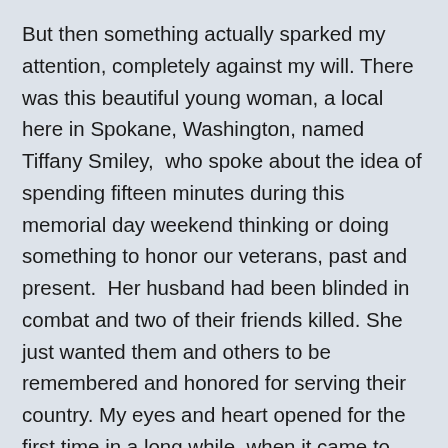But then something actually sparked my attention, completely against my will. There was this beautiful young woman, a local here in Spokane, Washington, named Tiffany Smiley,  who spoke about the idea of spending fifteen minutes during this memorial day weekend thinking or doing something to honor our veterans, past and present.  Her husband had been blinded in combat and two of their friends killed. She just wanted them and others to be remembered and honored for serving their country. My eyes and heart opened for the first time in a long while, when it came to thinking about anything beyond my immediate H World and I thought to myself “I could do that. I could pause for a simple fifteen minutes and really think about what Memorial Day is about.”